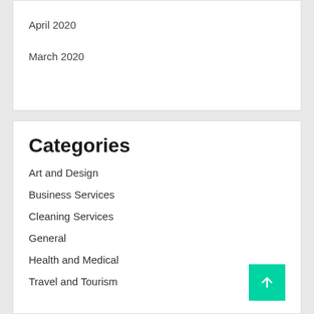April 2020
March 2020
Categories
Art and Design
Business Services
Cleaning Services
General
Health and Medical
Travel and Tourism